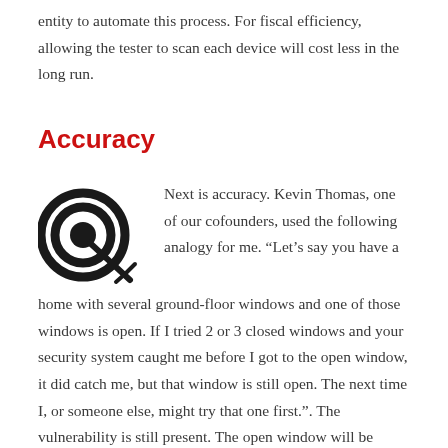entity to automate this process. For fiscal efficiency, allowing the tester to scan each device will cost less in the long run.
Accuracy
[Figure (illustration): A bullseye/target icon with a dart or arrow through it, rendered in black]
Next is accuracy. Kevin Thomas, one of our cofounders, used the following analogy for me. “Let’s say you have a home with several ground-floor windows and one of those windows is open. If I tried 2 or 3 closed windows and your security system caught me before I got to the open window, it did catch me, but that window is still open. The next time I, or someone else, might try that one first.”. The vulnerability is still present. The open window will be whatever service is allowed to run on the device and/or face